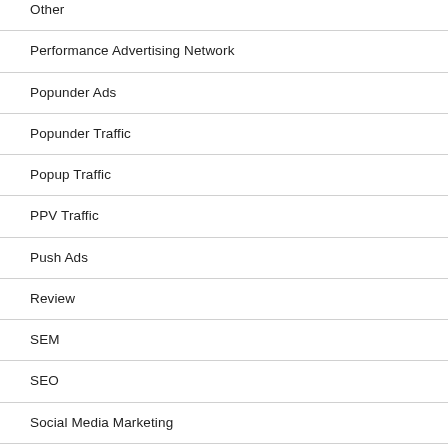Other
Performance Advertising Network
Popunder Ads
Popunder Traffic
Popup Traffic
PPV Traffic
Push Ads
Review
SEM
SEO
Social Media Marketing
Video Marketing
VPN